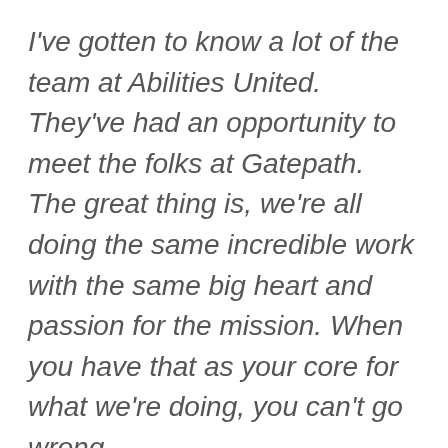I've gotten to know a lot of the team at Abilities United. They've had an opportunity to meet the folks at Gatepath. The great thing is, we're all doing the same incredible work with the same big heart and passion for the mission. When you have that as your core for what we're doing, you can't go wrong.
We need you, the community, to still be involved in our mission. It's the same mission as before. Nothing has changed on that. We're excited to have become one team, with one goal, and one mission … together supporting